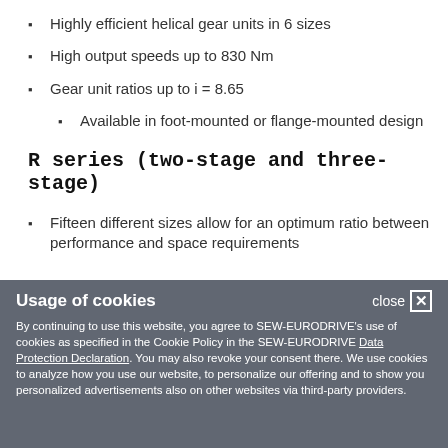Highly efficient helical gear units in 6 sizes
High output speeds up to 830 Nm
Gear unit ratios up to i = 8.65
Available in foot-mounted or flange-mounted design
R series (two-stage and three-stage)
Fifteen different sizes allow for an optimum ratio between performance and space requirements
Usage of cookies
By continuing to use this website, you agree to SEW-EURODRIVE's use of cookies as specified in the Cookie Policy in the SEW-EURODRIVE Data Protection Declaration. You may also revoke your consent there. We use cookies to analyze how you use our website, to personalize our offering and to show you personalized advertisements also on other websites via third-party providers.